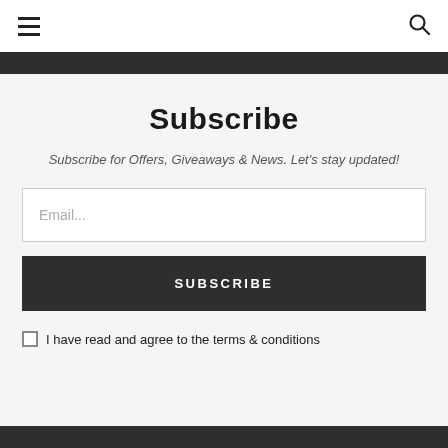☰ [hamburger menu] [search icon]
Subscribe
Subscribe for Offers, Giveaways & News. Let's stay updated!
Email...
SUBSCRIBE
I have read and agree to the terms & conditions